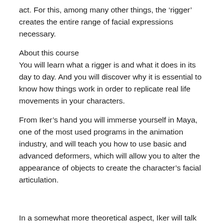act. For this, among many other things, the ‘rigger’ creates the entire range of facial expressions necessary.
About this course
You will learn what a rigger is and what it does in its day to day. And you will discover why it is essential to know how things work in order to replicate real life movements in your characters.
From Iker’s hand you will immerse yourself in Maya, one of the most used programs in the animation industry, and will teach you how to use basic and advanced deformers, which will allow you to alter the appearance of objects to create the character’s facial articulation.
In a somewhat more theoretical aspect, Iker will talk